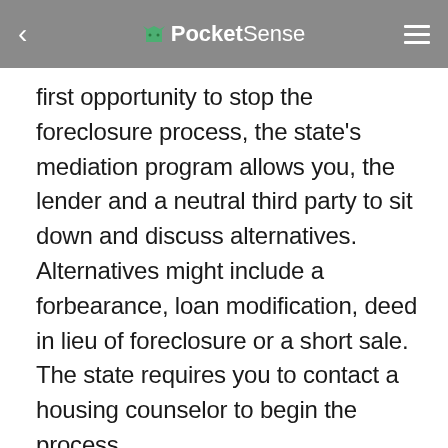PocketSense
first opportunity to stop the foreclosure process, the state's mediation program allows you, the lender and a neutral third party to sit down and discuss alternatives. Alternatives might include a forbearance, loan modification, deed in lieu of foreclosure or a short sale. The state requires you to contact a housing counselor to begin the process.